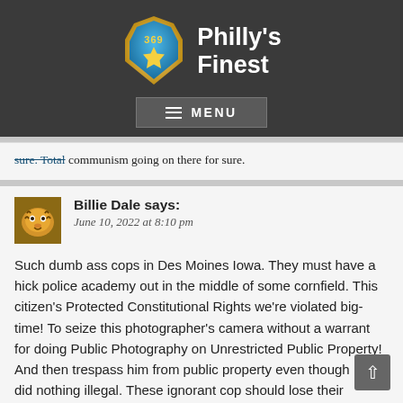[Figure (logo): Philly's Finest badge logo with number 369 and a star, beside the site title text]
sure. Total communism going on there for sure.
Billie Dale says:
June 10, 2022 at 8:10 pm

Such dumb ass cops in Des Moines Iowa. They must have a hick police academy out in the middle of some cornfield. This citizen's Protected Constitutional Rights we're violated big-time! To seize this photographer's camera without a warrant for doing Public Photography on Unrestricted Public Property! And then trespass him from public property even though he did nothing illegal. These ignorant cop should lose their Qualified Immunity